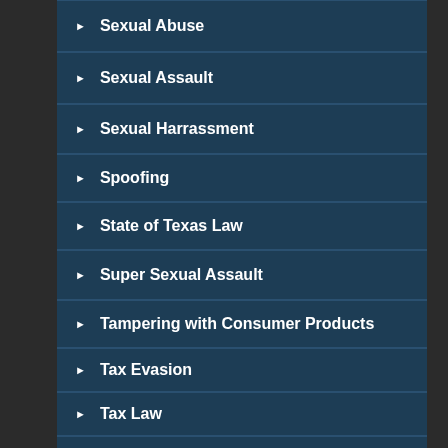Sexual Abuse
Sexual Assault
Sexual Harrassment
Spoofing
State of Texas Law
Super Sexual Assault
Tampering with Consumer Products
Tax Evasion
Tax Law
Telehealth Fraud
terrorism
Terrorism Criminology